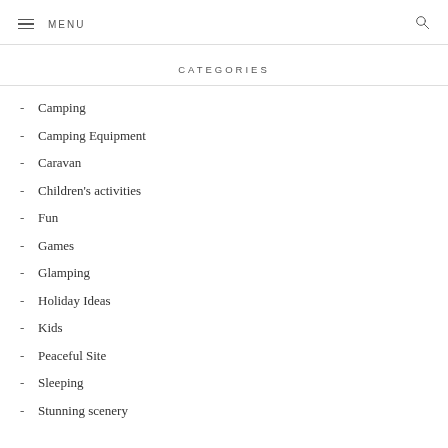MENU
CATEGORIES
Camping
Camping Equipment
Caravan
Children's activities
Fun
Games
Glamping
Holiday Ideas
Kids
Peaceful Site
Sleeping
Stunning scenery